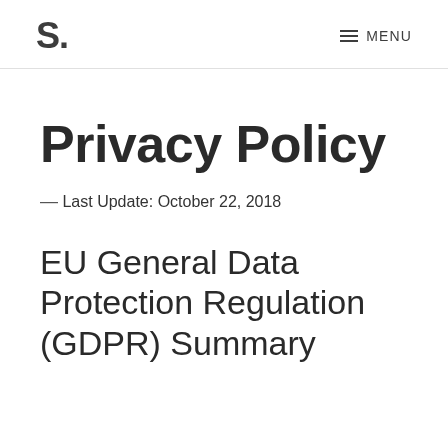S. MENU
Privacy Policy
—
Last Update: October 22, 2018
EU General Data Protection Regulation (GDPR) Summary